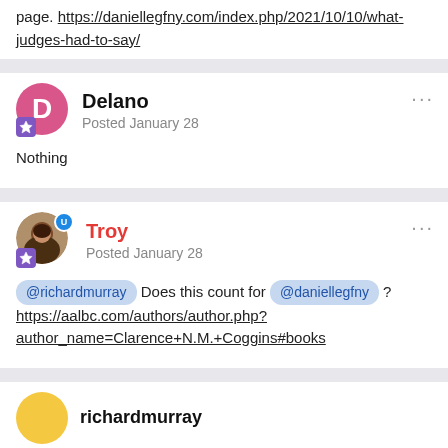page. https://daniellegfny.com/index.php/2021/10/10/what-judges-had-to-say/
Delano
Posted January 28
Nothing
Troy
Posted January 28
@richardmurray Does this count for @daniellegfny ? https://aalbc.com/authors/author.php?author_name=Clarence+N.M.+Coggins#books
richardmurray